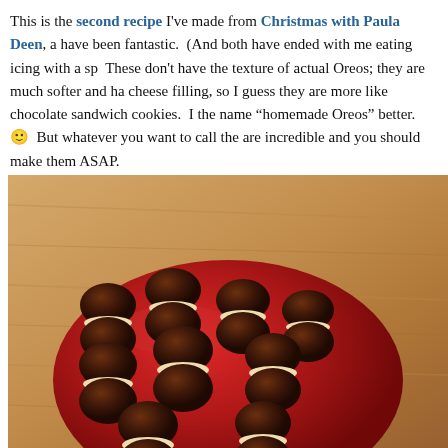This is the second recipe I've made from Christmas with Paula Deen, a [book], and both have been fantastic. (And both have ended with me eating icing with a sp[oon].) These don't have the texture of actual Oreos; they are much softer and ha[ve a cream] cheese filling, so I guess they are more like chocolate sandwich cookies. [But] the name "homemade Oreos" better. 🙂 But whatever you want to call the[m, they] are incredible and you should make them ASAP.
[Figure (photo): A red glass plate holding multiple chocolate sandwich cookies (homemade Oreos) with cream cheese filling, arranged on a wooden table surface.]